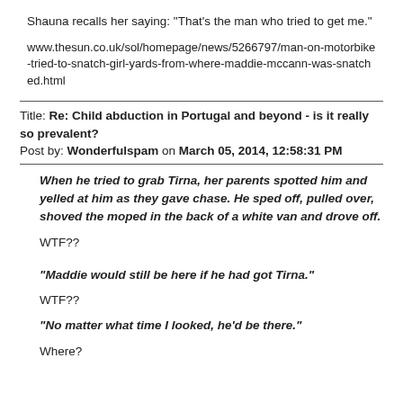Shauna recalls her saying: "That's the man who tried to get me."
www.thesun.co.uk/sol/homepage/news/5266797/man-on-motorbike-tried-to-snatch-girl-yards-from-where-maddie-mccann-was-snatched.html
Title: Re: Child abduction in Portugal and beyond - is it really so prevalent?
Post by: Wonderfulspam on March 05, 2014, 12:58:31 PM
When he tried to grab Tirna, her parents spotted him and yelled at him as they gave chase. He sped off, pulled over, shoved the moped in the back of a white van and drove off.
WTF??
"Maddie would still be here if he had got Tirna."
WTF??
"No matter what time I looked, he'd be there."
Where?